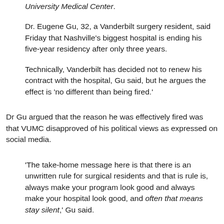University Medical Center.
Dr. Eugene Gu, 32, a Vanderbilt surgery resident, said Friday that Nashville's biggest hospital is ending his five-year residency after only three years.
Technically, Vanderbilt has decided not to renew his contract with the hospital, Gu said, but he argues the effect is 'no different than being fired.'
Dr Gu argued that the reason he was effectively fired was that VUMC disapproved of his political views as expressed on social media.
'The take-home message here is that there is an unwritten rule for surgical residents and that is rule is, always make your program look good and always make your hospital look good, and often that means stay silent,' Gu said.